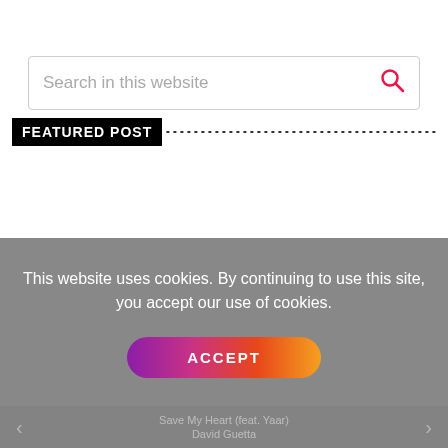[Figure (screenshot): Search bar input field with placeholder text 'Search in this website' and a pink search icon on the right]
FEATURED POST
This website uses cookies. By continuing to use this site, you accept our use of cookies.
ACCEPT
Save My Heart (feat. Yaar) David Guetta